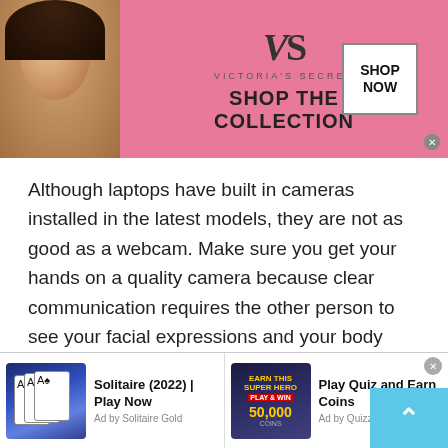[Figure (screenshot): Victoria's Secret advertisement banner with a model, VS logo, 'SHOP THE COLLECTION' tagline, and 'SHOP NOW' button]
Although laptops have built in cameras installed in the latest models, they are not as good as a webcam. Make sure you get your hands on a quality camera because clear communication requires the other person to see your facial expressions and your body language as clearly as possible.
Plus, seeing your gestures with clarity, and your body language is going to help you establish a long-term relationship. Clear communication helps the other perso
[Figure (screenshot): Bottom advertisement strip with two ads: 'Solitaire (2022) | Play Now' by Solitaire Gold showing playing cards, and 'Play Quiz and Earn Coins' by Quizzo showing a superhero figure with 50,000 coins offer]